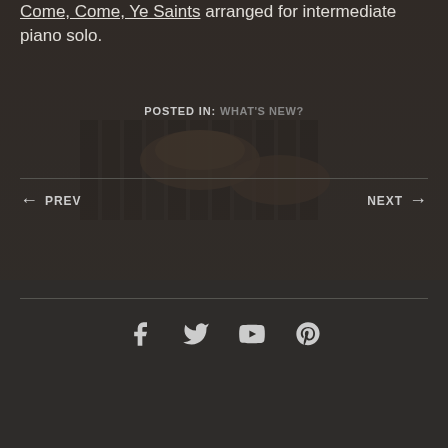Come, Come, Ye Saints arranged for intermediate piano solo.
[Figure (photo): Dark moody photo of hands playing piano keys, dimly lit]
POSTED IN: WHAT'S NEW?
← PREV   NEXT →
[Figure (infographic): Social media icons row: Facebook, Twitter, YouTube, Pinterest]